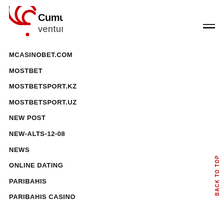[Figure (logo): Cumulative Ventures logo with red circular arc graphic and black text]
MCASINOBET.COM
MOSTBET
MOSTBETSPORT.KZ
MOSTBETSPORT.UZ
NEW POST
NEW-ALTS-12-08
NEWS
ONLINE DATING
PARIBAHIS
PARIBAHIS CASINO
BACK TO TOP